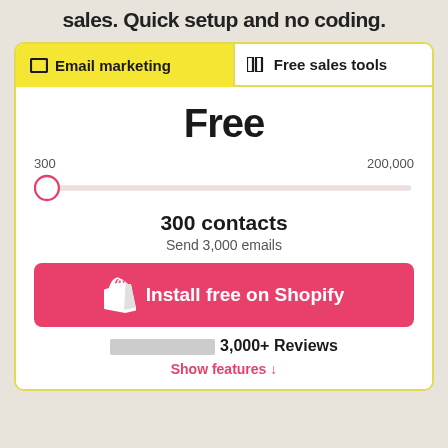sales. Quick setup and no coding.
Email marketing
Free sales tools
Free
300
200,000
300 contacts
Send 3,000 emails
Install free on Shopify
★★★★★ 3,000+ Reviews
Show features ↓